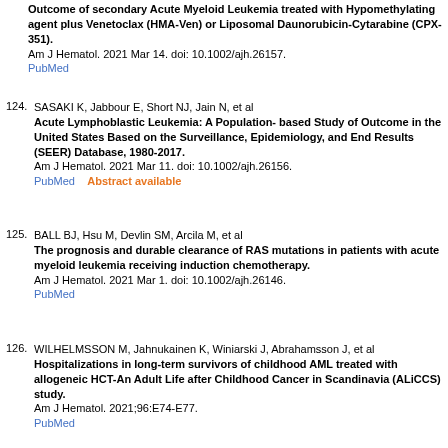Outcome of secondary Acute Myeloid Leukemia treated with Hypomethylating agent plus Venetoclax (HMA-Ven) or Liposomal Daunorubicin-Cytarabine (CPX-351). Am J Hematol. 2021 Mar 14. doi: 10.1002/ajh.26157. PubMed
124. SASAKI K, Jabbour E, Short NJ, Jain N, et al Acute Lymphoblastic Leukemia: A Population- based Study of Outcome in the United States Based on the Surveillance, Epidemiology, and End Results (SEER) Database, 1980-2017. Am J Hematol. 2021 Mar 11. doi: 10.1002/ajh.26156. PubMed Abstract available
125. BALL BJ, Hsu M, Devlin SM, Arcila M, et al The prognosis and durable clearance of RAS mutations in patients with acute myeloid leukemia receiving induction chemotherapy. Am J Hematol. 2021 Mar 1. doi: 10.1002/ajh.26146. PubMed
126. WILHELMSSON M, Jahnukainen K, Winiarski J, Abrahamsson J, et al Hospitalizations in long-term survivors of childhood AML treated with allogeneic HCT-An Adult Life after Childhood Cancer in Scandinavia (ALiCCS) study. Am J Hematol. 2021;96:E74-E77. PubMed